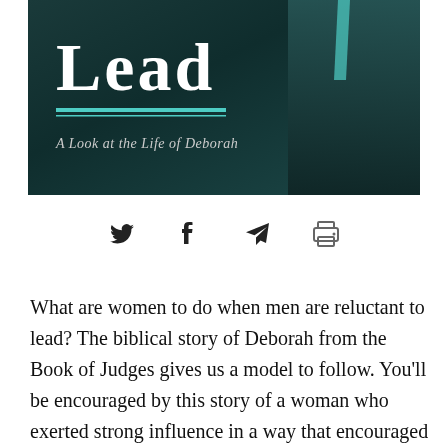[Figure (photo): Book cover image showing dark teal background with partial title 'Lead', two horizontal teal lines, and subtitle 'A Look at the Life of Deborah' in italic text. A figure in dark clothing is partially visible on the right side.]
[Figure (infographic): Social sharing icons row: Twitter bird icon, Facebook f icon, Telegram paper plane icon, and printer icon, all in dark gray/black.]
What are women to do when men are reluctant to lead? The biblical story of Deborah from the Book of Judges gives us a model to follow. You'll be encouraged by this story of a woman who exerted strong influence in a way that encouraged the men around her to be what God called them to be. This series is sure to spark discussion, as Nancy addresses the